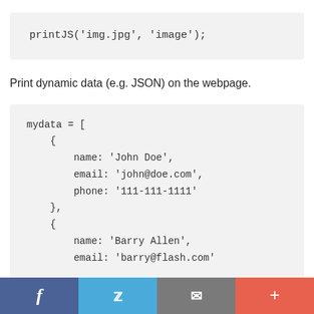[Figure (screenshot): Code block showing: printJS('img.jpg', 'image');]
Print dynamic data (e.g. JSON) on the webpage.
[Figure (screenshot): Code block showing JSON data: mydata = [ { name: 'John Doe', email: 'john@doe.com', phone: '111-111-1111' }, { name: 'Barry Allen', email: 'barry@flash.com' ...]
f  [twitter bird]  [envelope]  +